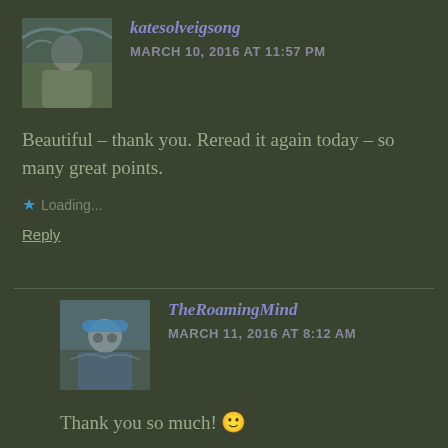katesolveigsong
MARCH 10, 2016 AT 11:57 PM
[Figure (photo): Avatar photo of katesolveigsong — person in outdoor setting with waterfall]
Beautiful – thank you. Reread it again today – so many great points.
Loading...
Reply
TheRoamingMind
MARCH 11, 2016 AT 8:12 AM
[Figure (photo): Avatar photo of TheRoamingMind — person wearing blue cap and sunglasses outdoors]
Thank you so much! 🙂